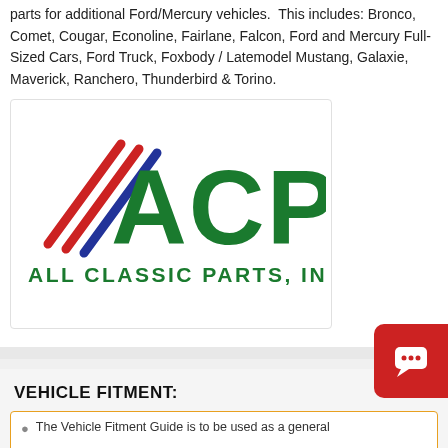parts for additional Ford/Mercury vehicles. This includes: Bronco, Comet, Cougar, Econoline, Fairlane, Falcon, Ford and Mercury Full-Sized Cars, Ford Truck, Foxbody / Latemodel Mustang, Galaxie, Maverick, Ranchero, Thunderbird & Torino.
[Figure (logo): ACP All Classic Parts, Inc. logo with diagonal red and blue stripes and green lettering]
VEHICLE FITMENT:
The Vehicle Fitment Guide is to be used as a general